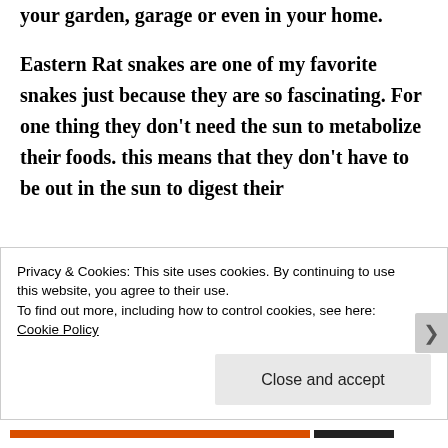your garden, garage or even in your home.
Eastern Rat snakes are one of my favorite snakes just because they are so fascinating. For one thing they don't need the sun to metabolize their foods. this means that they don't have to be out in the sun to digest their
Privacy & Cookies: This site uses cookies. By continuing to use this website, you agree to their use.
To find out more, including how to control cookies, see here: Cookie Policy
Close and accept